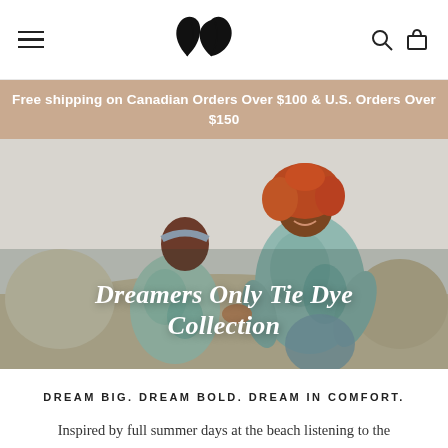Navigation bar with hamburger menu, logo, search and cart icons
Free shipping on Canadian Orders Over $100 & U.S. Orders Over $150
[Figure (photo): Two women sitting on a beige couch wearing teal/green tie dye loungewear. One woman has curly red hair and is smiling. The other wears a headband. Overlaid text reads: Dreamers Only Tie Dye Collection]
Dreamers Only Tie Dye Collection
DREAM BIG. DREAM BOLD. DREAM IN COMFORT.
Inspired by full summer days at the beach listening to the